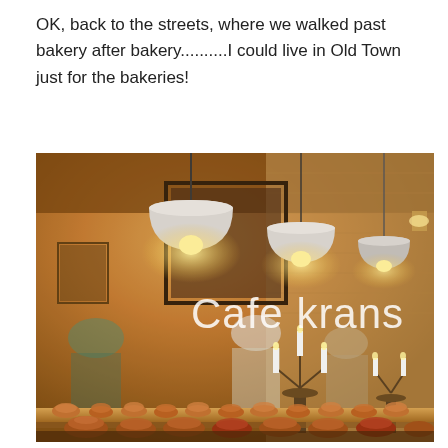OK, back to the streets, where we walked past bakery after bakery..........I could live in Old Town just for the bakeries!
[Figure (photo): A warm, golden-toned photograph taken through a glass window of Cafe krans. The window has 'Cafe krans' written in white text. Inside, pendant lamps with white shades hang from the ceiling, illuminating the interior. Candelabras with white candles are visible inside. A long wooden shelf/counter near the window displays rows of baked pastries/rolls. People can be seen inside the cafe in the background.]